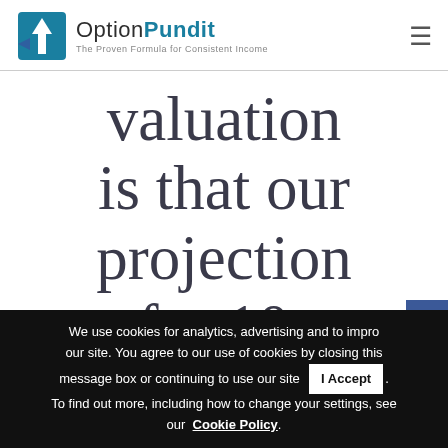OptionPundit — The Proven Formula for Consistent Income
valuation is that our projection for 10-
[Figure (logo): OptionPundit logo with teal arrow icon and tagline 'The Proven Formula for Consistent Income']
[Figure (infographic): Social media sidebar icons: Facebook (blue), YouTube (red), Twitter (blue), Instagram (gradient)]
We use cookies for analytics, advertising and to improve our site. You agree to our use of cookies by closing this message box or continuing to use our site  I Accept . To find out more, including how to change your settings, see our Cookie Policy.